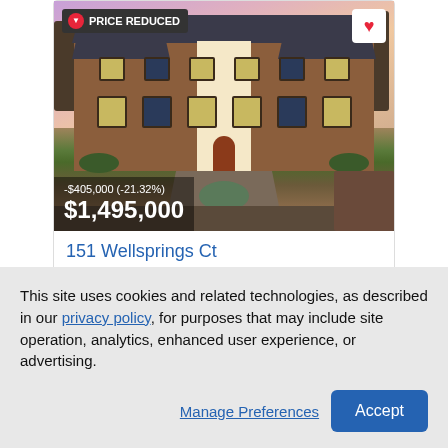[Figure (photo): Exterior photo of a large two-story brick colonial house at dusk with a circular driveway and fountain. Overlaid badge reads PRICE REDUCED. Price overlay shows -$405,000 (-21.32%) and $1,495,000.]
151 Wellsprings Ct
Pfafftown, NC 27040
Single Family | Active | Updated 10 hours ago
This site uses cookies and related technologies, as described in our privacy policy, for purposes that may include site operation, analytics, enhanced user experience, or advertising.
Manage Preferences
Accept